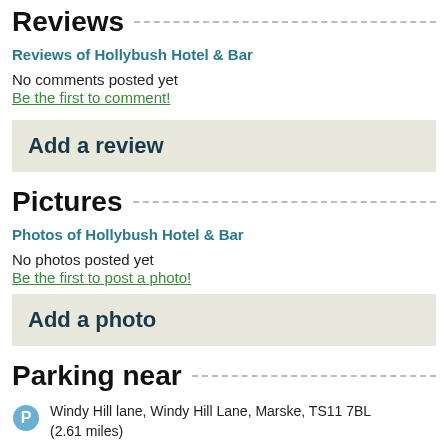Reviews
Reviews of Hollybush Hotel & Bar
No comments posted yet
Be the first to comment!
Add a review
Pictures
Photos of Hollybush Hotel & Bar
No photos posted yet
Be the first to post a photo!
Add a photo
Parking near
Windy Hill lane, Windy Hill Lane, Marske, TS11 7BL (2.61 miles)